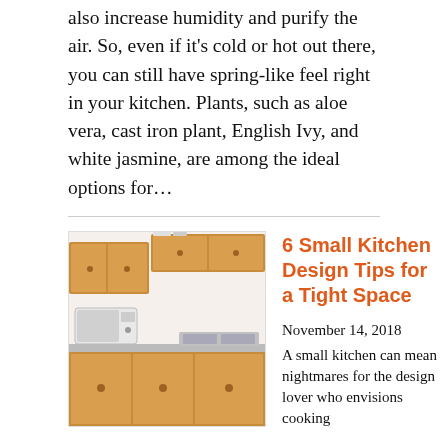also increase humidity and purify the air. So, even if it's cold or hot out there, you can still have spring-like feel right in your kitchen. Plants, such as aloe vera, cast iron plant, English Ivy, and white jasmine, are among the ideal options for...
[Figure (photo): Photo of a small kitchen with wooden cabinets, microwave, sink, and stovetop against white walls.]
6 Small Kitchen Design Tips for a Tight Space
November 14, 2018
A small kitchen can mean nightmares for the design lover who envisions cooking and eating in a perfect, Pinterest-worthy space. It might seem like an impossible task to create a dreamy kitchen in such a limited space. A tight space doesn't have to be an obstacle to your creative design ideas. Certain tricks can allow...